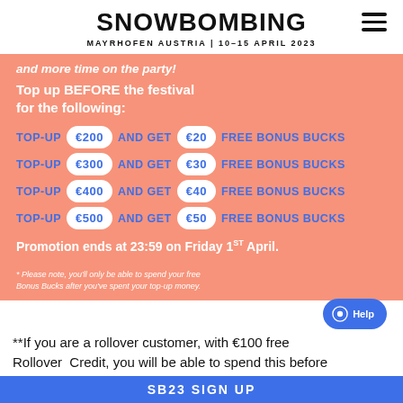SNOWBOMBING MAYRHOFEN AUSTRIA | 10-15 APRIL 2023
and more time on the party!
Top up BEFORE the festival for the following:
TOP-UP €200 AND GET €20 FREE BONUS BUCKS
TOP-UP €300 AND GET €30 FREE BONUS BUCKS
TOP-UP €400 AND GET €40 FREE BONUS BUCKS
TOP-UP €500 AND GET €50 FREE BONUS BUCKS
Promotion ends at 23:59 on Friday 1ST April.
* Please note, you'll only be able to spend your free Bonus Bucks after you've spent your top-up money.
**If you are a rollover customer, with €100 free Rollover Credit, you will be able to spend this before
SB23 SIGN UP